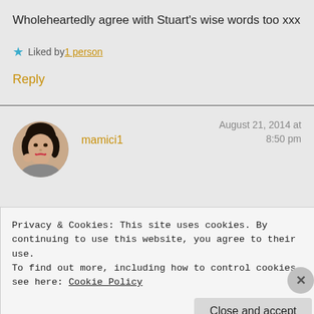Wholeheartedly agree with Stuart's wise words too xxx
Liked by 1 person
Reply
[Figure (photo): Round avatar photo of a woman smiling, with dark hair, hand near face]
mamici1
August 21, 2014 at 8:50 pm
Privacy & Cookies: This site uses cookies. By continuing to use this website, you agree to their use.
To find out more, including how to control cookies, see here: Cookie Policy
Close and accept